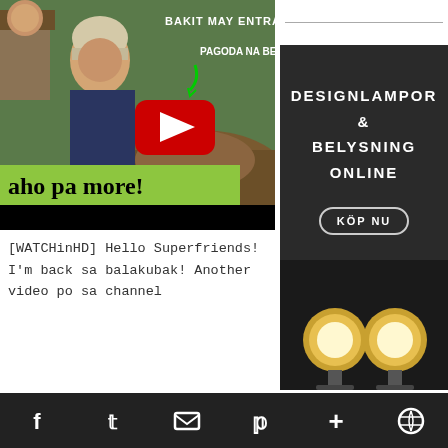[Figure (screenshot): YouTube video thumbnail showing a woman in a knit hat outdoors with text 'BAKIT MAY ENTRA...' and 'PAGODA NA BESH!' and green banner 'aho pa more!']
[Figure (advertisement): Dark advertisement for 'DESIGNLAMPOR & BELYSNING ONLINE' with KOP NU button and lamp photo]
[WATCHinHD] Hello Superfriends! I'm back sa balakubak! Another video po sa channel
f  t  mail  p  +  wordpress icons